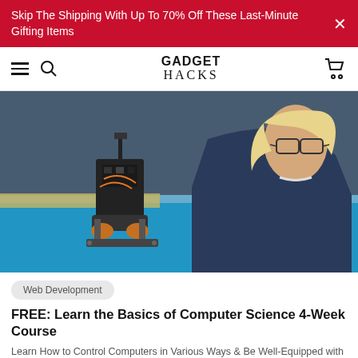Skip The Shipping With Up To 70% Off These Last-Minute Gifting Items
GADGET HACKS
[Figure (photo): A woman with glasses and dark blue sweater looking at a small robot while working on a laptop on a bright blue table in a workshop setting.]
Web Development
FREE: Learn the Basics of Computer Science 4-Week Course
Learn How to Control Computers in Various Ways & Be Well-Equipped with the Fundamentals of Computer Programming
FREE $200.00